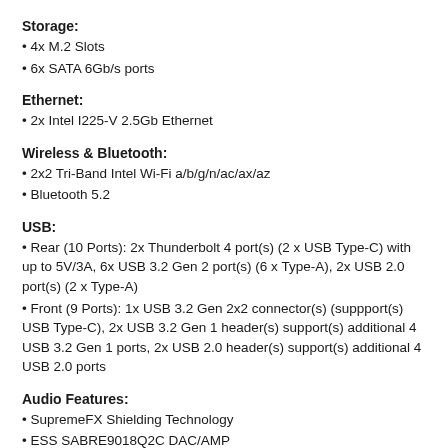Storage:
4x M.2 Slots
6x SATA 6Gb/s ports
Ethernet:
2x Intel I225-V 2.5Gb Ethernet
Wireless & Bluetooth:
2x2 Tri-Band Intel Wi-Fi a/b/g/n/ac/ax/az
Bluetooth 5.2
USB:
Rear (10 Ports): 2x Thunderbolt 4 port(s) (2 x USB Type-C) with up to 5V/3A, 6x USB 3.2 Gen 2 port(s) (6 x Type-A), 2x USB 2.0 port(s) (2 x Type-A)
Front (9 Ports): 1x USB 3.2 Gen 2x2 connector(s) (suppport(s) USB Type-C), 2x USB 3.2 Gen 1 header(s) support(s) additional 4 USB 3.2 Gen 1 ports, 2x USB 2.0 header(s) support(s) additional 4 USB 2.0 ports
Audio Features:
SupremeFX Shielding Technology
ESS SABRE9018Q2C DAC/AMP